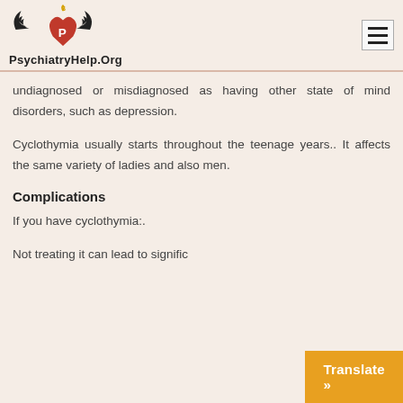PsychiatryHelp.Org
undiagnosed or misdiagnosed as having other state of mind disorders, such as depression.
Cyclothymia usually starts throughout the teenage years.. It affects the same variety of ladies and also men.
Complications
If you have cyclothymia:.
Not treating it can lead to signific